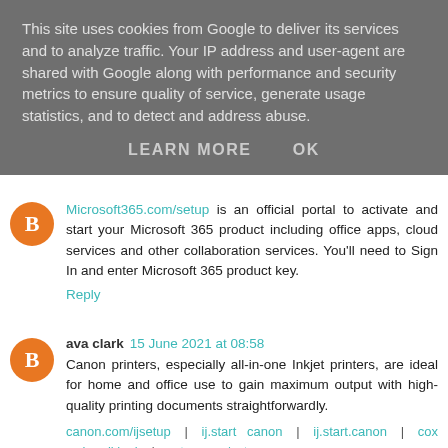This site uses cookies from Google to deliver its services and to analyze traffic. Your IP address and user-agent are shared with Google along with performance and security metrics to ensure quality of service, generate usage statistics, and to detect and address abuse.
LEARN MORE   OK
Microsoft365.com/setup is an official portal to activate and start your Microsoft 365 product including office apps, cloud services and other collaboration services. You'll need to Sign In and enter Microsoft 365 product key.
Reply
ava clark  15 June 2021 at 08:58
Canon printers, especially all-in-one Inkjet printers, are ideal for home and office use to gain maximum output with high-quality printing documents straightforwardly.
canon.com/ijsetup | ij.start canon | ij.start.canon | cox webmail login | norton.com/setup